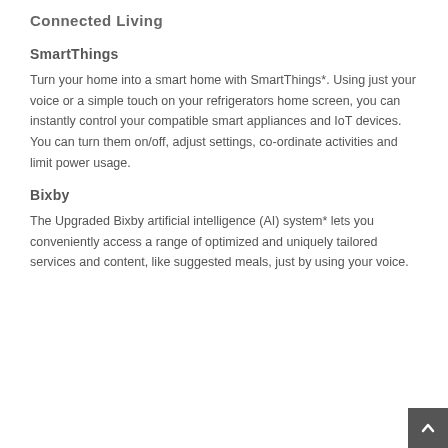Connected Living
SmartThings
Turn your home into a smart home with SmartThings*. Using just your voice or a simple touch on your refrigerators home screen, you can instantly control your compatible smart appliances and IoT devices. You can turn them on/off, adjust settings, co-ordinate activities and limit power usage.
Bixby
The Upgraded Bixby artificial intelligence (AI) system* lets you conveniently access a range of optimized and uniquely tailored services and content, like suggested meals, just by using your voice.